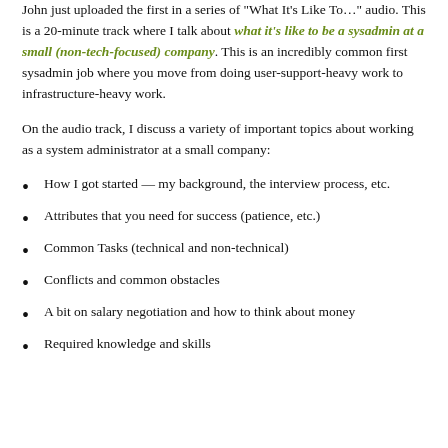John just uploaded the first in a series of "What It's Like To..." audio. This is a 20-minute track where I talk about what it's like to be a sysadmin at a small (non-tech-focused) company. This is an incredibly common first sysadmin job where you move from doing user-support-heavy work to infrastructure-heavy work.
On the audio track, I discuss a variety of important topics about working as a system administrator at a small company:
How I got started — my background, the interview process, etc.
Attributes that you need for success (patience, etc.)
Common Tasks (technical and non-technical)
Conflicts and common obstacles
A bit on salary negotiation and how to think about money
Required knowledge and skills